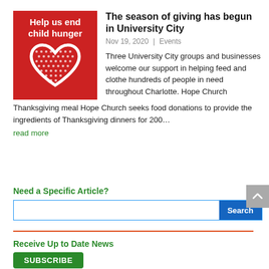[Figure (illustration): Red square graphic with white bold text 'Help us end child hunger' and a white outlined heart filled with red dots pattern]
The season of giving has begun in University City
Nov 19, 2020 | Events
Three University City groups and businesses welcome our support in helping feed and clothe hundreds of people in need throughout Charlotte. Hope Church Thanksgiving meal Hope Church seeks food donations to provide the ingredients of Thanksgiving dinners for 200...
read more
Need a Specific Article?
Search
Receive Up to Date News
SUBSCRIBE